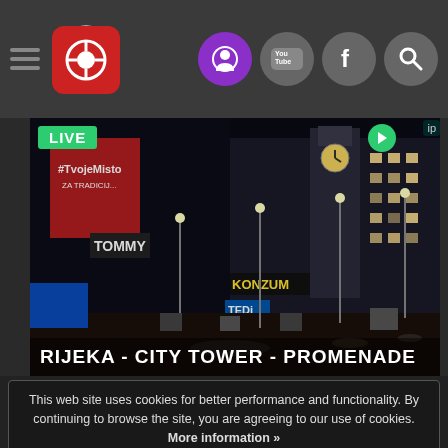Navigation header with hamburger menu, camera logo, and social icons (webcam, YouTube, Facebook, Search)
[Figure (screenshot): Night-time live webcam feed of Rijeka City Tower and Promenade showing illuminated buildings, store signs (#TvojeMisto, Tommy, KONZUM, TEDi), wet promenade and a clock tower in the background. Green LIVE badge top-left, play button top-right.]
RIJEKA - CITY TOWER - PROMENADE
This web site uses cookies for better performance and functionality. By continuing to browse the site, you are agreeing to our use of cookies. More information »
I AGREE